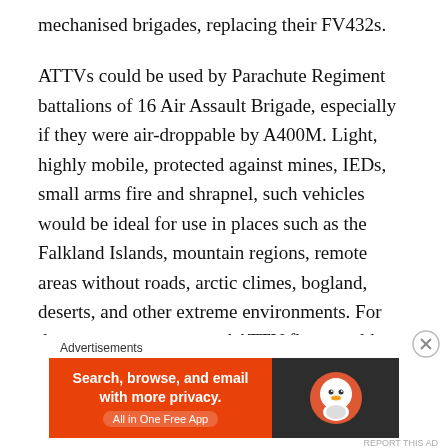mechanised brigades, replacing their FV432s.
ATTVs could be used by Parachute Regiment battalions of 16 Air Assault Brigade, especially if they were air-droppable by A400M. Light, highly mobile, protected against mines, IEDs, small arms fire and shrapnel, such vehicles would be ideal for use in places such as the Falkland Islands, mountain regions, remote areas without roads, arctic climes, bogland, deserts, and other extreme environments. For these reasons, a protected ATTV fleet would provide an extra string to the British Army's bow, providing utility in the rare
Advertisements
[Figure (infographic): DuckDuckGo advertisement banner: orange left section with text 'Search, browse, and email with more privacy. All in One Free App', dark right section with DuckDuckGo logo.]